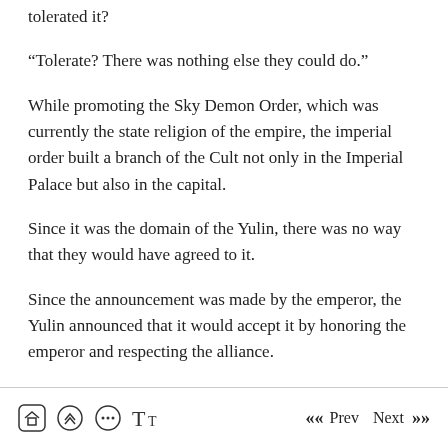tolerated it?
“Tolerate? There was nothing else they could do.”
While promoting the Sky Demon Order, which was currently the state religion of the empire, the imperial order built a branch of the Cult not only in the Imperial Palace but also in the capital.
Since it was the domain of the Yulin, there was no way that they would have agreed to it.
Since the announcement was made by the emperor, the Yulin announced that it would accept it by honoring the emperor and respecting the alliance.
Home | Up | Chat | Font | Prev | Next